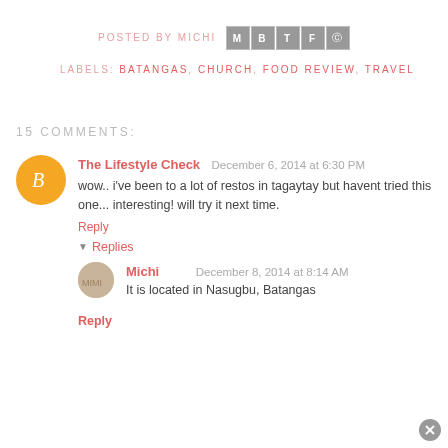POSTED BY MICHI [social icons: M, B, t, f, pinterest]
LABELS: BATANGAS, CHURCH, FOOD REVIEW, TRAVEL
15 COMMENTS:
The Lifestyle Check  December 6, 2014 at 6:30 PM
wow.. i've been to a lot of restos in tagaytay but havent tried this one... interesting! will try it next time.
Reply
Replies
Michi  December 8, 2014 at 8:14 AM
It is located in Nasugbu, Batangas
Reply